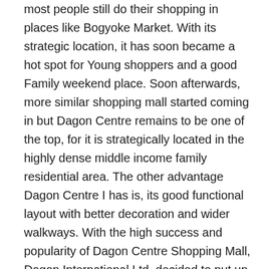most people still do their shopping in places like Bogyoke Market. With its strategic location, it has soon became a hot spot for Young shoppers and a good Family weekend place. Soon afterwards, more similar shopping mall started coming in but Dagon Centre remains to be one of the top, for it is strategically located in the highly dense middle income family residential area. The other advantage Dagon Centre I has is, its good functional layout with better decoration and wider walkways. With the high success and popularity of Dagon Centre Shopping Mall, Dagon International Ltd. decided to put up more shopping malls in the near vicinity. Dagon International jointly developed with Ministry of Information's owned land next door to the existing Dagon Centre I to become our second mall in the Group. The Project was named Dagon Centre II and which was jointly developed with the agreement of 60:40 benefit sharing between Dagon Group and Ministry of Information.